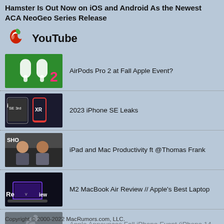Hamster Is Out Now on iOS and Android As the Newest ACA NeoGeo Series Release
YouTube
AirPods Pro 2 at Fall Apple Event?
2023 iPhone SE Leaks
iPad and Mac Productivity ft @Thomas Frank
M2 MacBook Air Review // Apple's Best Laptop
Apple Announces Fall iPhone Event (iPhone 14, Apple Watch Pro & More)
Copyright © 2000-2022 MacRumors.com, LLC.